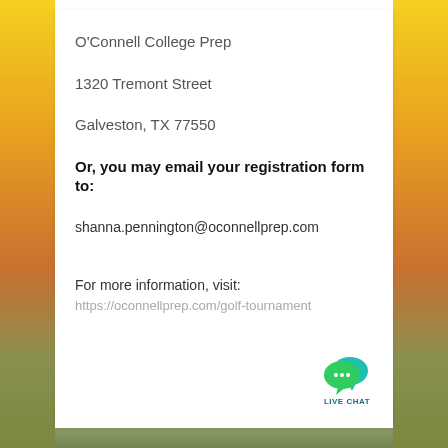O'Connell College Prep
1320 Tremont Street
Galveston, TX 77550
Or, you may email your registration form to:
shanna.pennington@oconnellprep.com
For more information, visit:
https://oconnellprep.com/golf-tournament
[Figure (logo): Live Chat badge with teal/green speech bubble icons and 'LIVE CHAT' text label]